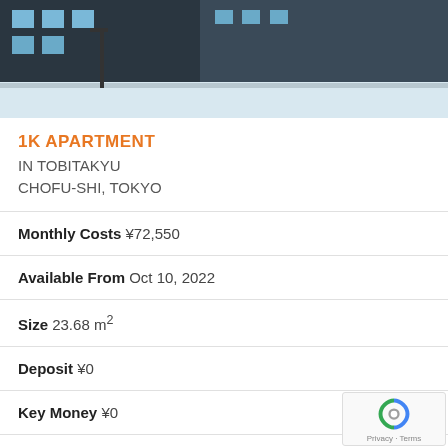[Figure (photo): Exterior photo of a modern apartment building in snow, showing dark-colored facade with windows and a light-colored ground area]
1K APARTMENT
IN TOBITAKYU
CHOFU-SHI, TOKYO
Monthly Costs ¥72,550
Available From Oct 10, 2022
Size 23.68 m²
Deposit ¥0
Key Money ¥0
Floor 1 / 2F
Year Built 2010